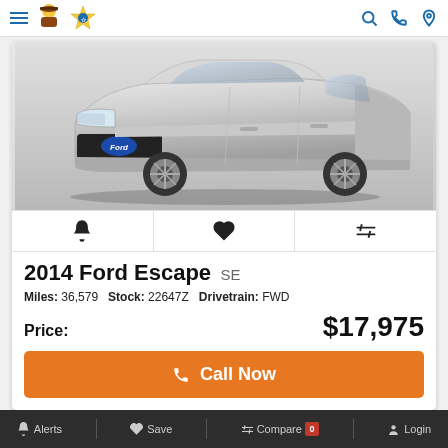Navigation header with hamburger menu, dealer logos, and icons
[Figure (photo): Silver 2014 Ford Escape SUV, front three-quarter view on light gray background]
Bell icon | Heart icon | Compare/transfer icon
2014 Ford Escape SE
Miles: 36,579   Stock: 22647Z   Drivetrain: FWD
Price: $17,975
Call Now
Alerts  Save  Compare 0  Login